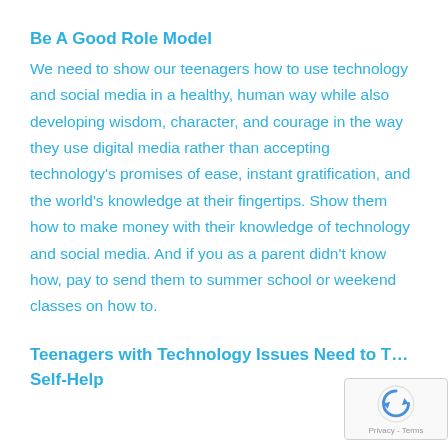Be A Good Role Model
We need to show our teenagers how to use technology and social media in a healthy, human way while also developing wisdom, character, and courage in the way they use digital media rather than accepting technology's promises of ease, instant gratification, and the world's knowledge at their fingertips. Show them how to make money with their knowledge of technology and social media. And if you as a parent didn't know how, pay to send them to summer school or weekend classes on how to.
Teenagers with Technology Issues Need to Take Self-Help